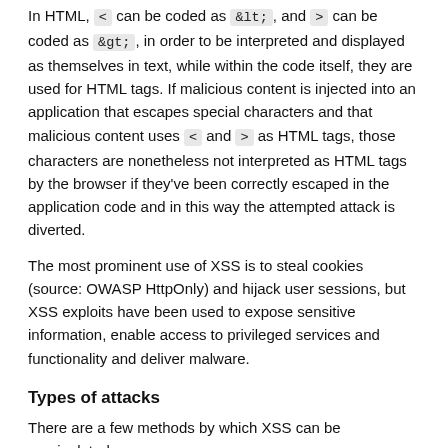In HTML, < can be coded as &lt;, and > can be coded as &gt;, in order to be interpreted and displayed as themselves in text, while within the code itself, they are used for HTML tags. If malicious content is injected into an application that escapes special characters and that malicious content uses < and > as HTML tags, those characters are nonetheless not interpreted as HTML tags by the browser if they've been correctly escaped in the application code and in this way the attempted attack is diverted.
The most prominent use of XSS is to steal cookies (source: OWASP HttpOnly) and hijack user sessions, but XSS exploits have been used to expose sensitive information, enable access to privileged services and functionality and deliver malware.
Types of attacks
There are a few methods by which XSS can be manipulated:
| Type | Origin | Description |
| --- | --- | --- |
| Stored | Server | The malicious code is inserted in the application (usually as a link) by the attacker. |